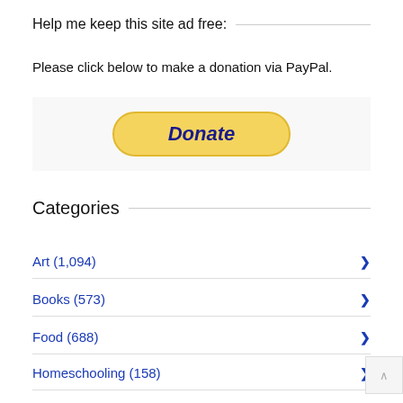Help me keep this site ad free:
Please click below to make a donation via PayPal.
[Figure (other): Yellow PayPal Donate button with rounded corners and bold italic blue text 'Donate']
Categories
Art (1,094)
Books (573)
Food (688)
Homeschooling (158)
Hope (741)